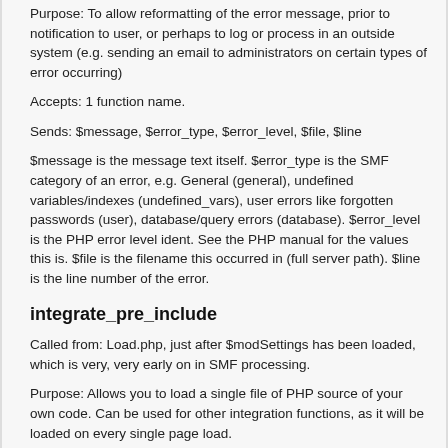Purpose: To allow reformatting of the error message, prior to notification to user, or perhaps to log or process in an outside system (e.g. sending an email to administrators on certain types of error occurring)
Accepts: 1 function name.
Sends: $message, $error_type, $error_level, $file, $line
$message is the message text itself. $error_type is the SMF category of an error, e.g. General (general), undefined variables/indexes (undefined_vars), user errors like forgotten passwords (user), database/query errors (database). $error_level is the PHP error level ident. See the PHP manual for the values this is. $file is the filename this occurred in (full server path). $line is the line number of the error.
integrate_pre_include
Called from: Load.php, just after $modSettings has been loaded, which is very, very early on in SMF processing.
Purpose: Allows you to load a single file of PHP source of your own code. Can be used for other integration functions, as it will be loaded on every single page load.